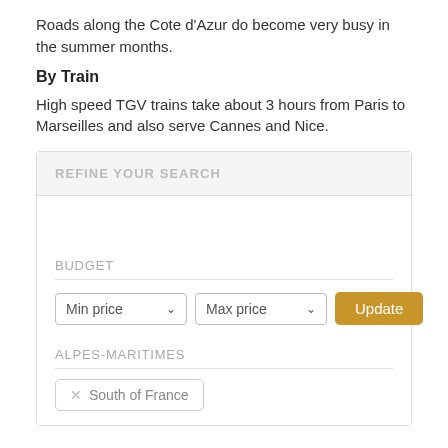Roads along the Cote d'Azur do become very busy in the summer months.
By Train
High speed TGV trains take about 3 hours from Paris to Marseilles and also serve Cannes and Nice.
[Figure (screenshot): Search filter widget with 'REFINE YOUR SEARCH' header, BUDGET section with Min price and Max price dropdowns and Update button, and ALPES-MARITIMES section with 'South of France' tag]